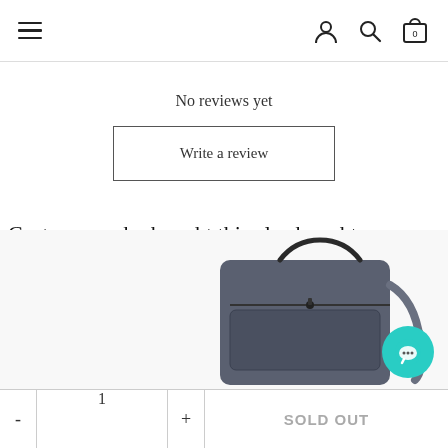Navigation bar with hamburger menu, user icon, search icon, cart icon (0 items)
No reviews yet
Write a review
Customers who bought this also bought
[Figure (photo): Photo of a dark navy/grey laptop bag with handle and shoulder strap, partially visible]
- 1 + SOLD OUT